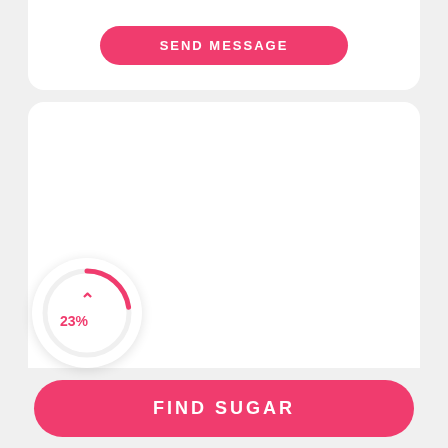[Figure (screenshot): Top fragment of a card with a pink SEND MESSAGE button]
[Figure (donut-chart): Circular progress indicator showing 23% in pink]
CLAYTON HANSEN
FIND SUGAR